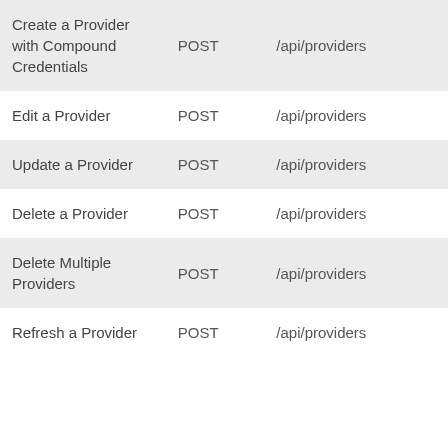| Create a Provider with Compound Credentials | POST | /api/providers |
| Edit a Provider | POST | /api/providers |
| Update a Provider | POST | /api/providers |
| Delete a Provider | POST | /api/providers |
| Delete Multiple Providers | POST | /api/providers |
| Refresh a Provider | POST | /api/providers |